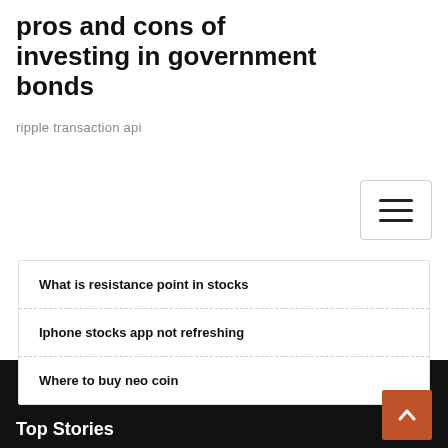pros and cons of investing in government bonds
ripple transaction api
What is resistance point in stocks
Iphone stocks app not refreshing
Where to buy neo coin
Top Stories